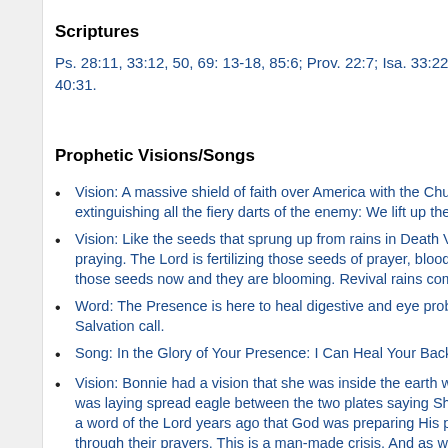Scriptures
Ps. 28:11, 33:12, 50, 69: 13-18, 85:6; Prov. 22:7; Isa. 33:22; 1 Ti… 40:31.
Prophetic Visions/Songs
Vision: A massive shield of faith over America with the Church holdin… extinguishing all the fiery darts of the enemy: We lift up the shield of …
Vision: Like the seeds that sprung up from rains in Death Valley (100… praying. The Lord is fertilizing those seeds of prayer, blood and sacri… those seeds now and they are blooming. Revival rains come!
Word: The Presence is here to heal digestive and eye problems, kne… Salvation call.
Song: In the Glory of Your Presence: I Can Heal Your Back and Hea…
Vision: Bonnie had a vision that she was inside the earth where the t… was laying spread eagle between the two plates saying Shalom in th… a word of the Lord years ago that God was preparing His people to c… through their prayers. This is a man-made crisis. And as we were wo… Lord of the Rings that represents the Church in this hour in prayer st… next generation.
Vision: An abacus with the hand of the Lord tipping the beads as the… Chinese invented the abacus. The root of the abacus is to count. We… America's economy and reversing our debt to China.
Vision: Our Capitol was a roulette table with black and rod. The bal…